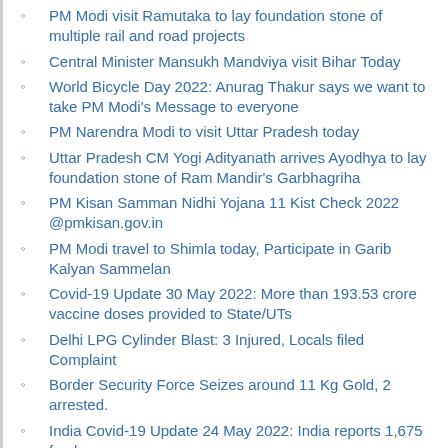PM Modi visit Ramutaka to lay foundation stone of multiple rail and road projects
Central Minister Mansukh Mandviya visit Bihar Today
World Bicycle Day 2022: Anurag Thakur says we want to take PM Modi's Message to everyone
PM Narendra Modi to visit Uttar Pradesh today
Uttar Pradesh CM Yogi Adityanath arrives Ayodhya to lay foundation stone of Ram Mandir's Garbhagriha
PM Kisan Samman Nidhi Yojana 11 Kist Check 2022 @pmkisan.gov.in
PM Modi travel to Shimla today, Participate in Garib Kalyan Sammelan
Covid-19 Update 30 May 2022: More than 193.53 crore vaccine doses provided to State/UTs
Delhi LPG Cylinder Blast: 3 Injured, Locals filed Complaint
Border Security Force Seizes around 11 Kg Gold, 2 arrested.
India Covid-19 Update 24 May 2022: India reports 1,675 fresh cases